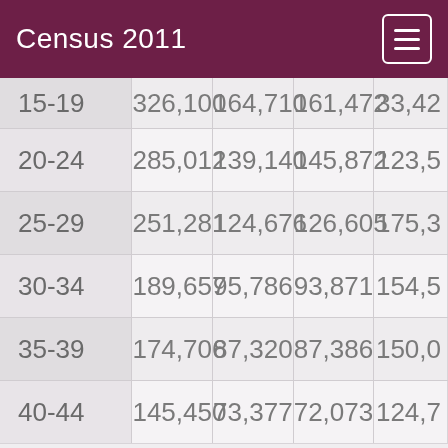Census 2011
| Age | Total | Male | Female | ... |
| --- | --- | --- | --- | --- |
| 15-19 | 326,100 | 164,710 | 161,472 | 33,42... |
| 20-24 | 285,012 | 139,140 | 145,872 | 123,5... |
| 25-29 | 251,281 | 124,676 | 126,605 | 175,3... |
| 30-34 | 189,657 | 95,786 | 93,871 | 154,5... |
| 35-39 | 174,706 | 87,320 | 87,386 | 150,0... |
| 40-44 | 145,450 | 73,377 | 72,073 | 124,7... |